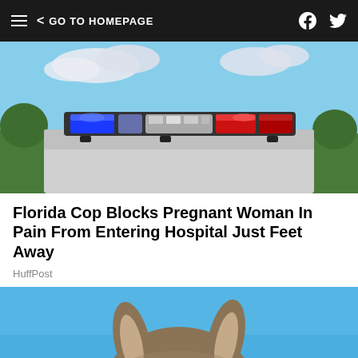GO TO HOMEPAGE
[Figure (photo): Close-up of police car light bar with blue and red emergency lights against a sky background]
Florida Cop Blocks Pregnant Woman In Pain From Entering Hospital Just Feet Away
HuffPost
[Figure (photo): Close-up of a kangaroo's face against a blue sky background]